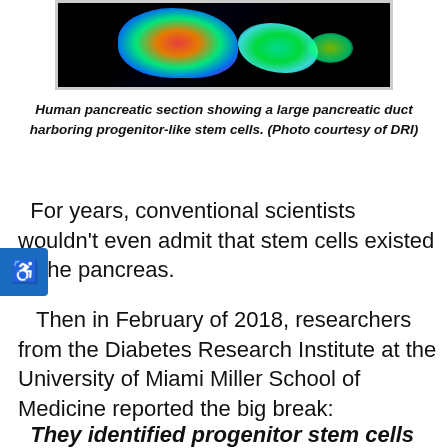[Figure (photo): Fluorescence microscopy image of a human pancreatic section showing colorful glowing cells (red, orange, green, blue, purple) against a dark/black background, depicting a large pancreatic duct harboring progenitor-like stem cells.]
Human pancreatic section showing a large pancreatic duct harboring progenitor-like stem cells. (Photo courtesy of DRI)
For years, conventional scientists wouldn't even admit that stem cells existed in the pancreas.
Then in February of 2018, researchers from the Diabetes Research Institute at the University of Miami Miller School of Medicine reported the big break:
They identified progenitor stem cells in